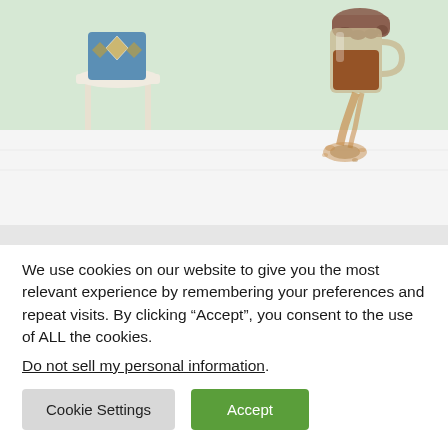[Figure (photo): Product photo showing a white mattress protector on a bed with a hand pouring liquid from a glass pitcher onto the surface, demonstrating waterproof protection. Background shows a room with a side table and decorative pillow.]
We use cookies on our website to give you the most relevant experience by remembering your preferences and repeat visits. By clicking “Accept”, you consent to the use of ALL the cookies.
Do not sell my personal information.
Cookie Settings
Accept